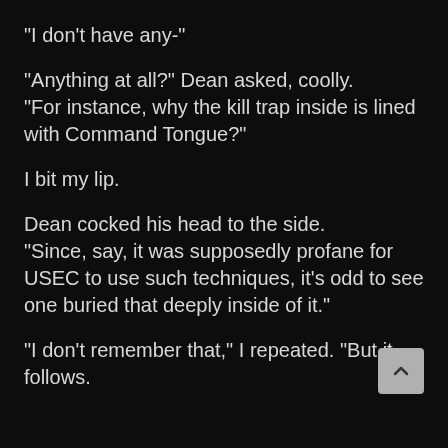“I don’t have any-”
“Anything at all?” Dean asked, coolly. “For instance, why the kill trap inside is lined with Command Tongue?”
I bit my lip.
Dean cocked his head to the side. “Since, say, it was supposedly profane for USEC to use such techniques, it’s odd to see one buried that deeply inside of it.”
“I don’t remember that,” I repeated. “But it follows.